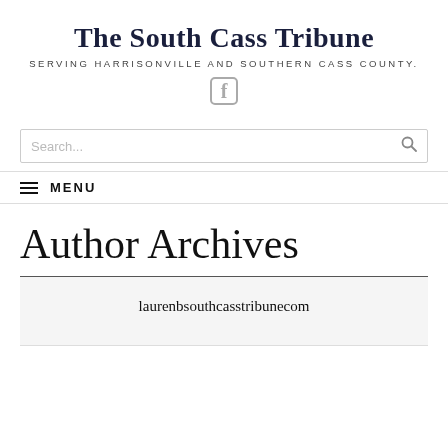The South Cass Tribune
SERVING HARRISONVILLE AND SOUTHERN CASS COUNTY.
[Figure (other): Facebook icon/logo in gray]
Search...
≡ MENU
Author Archives
laurenbsouthcasstribunecom